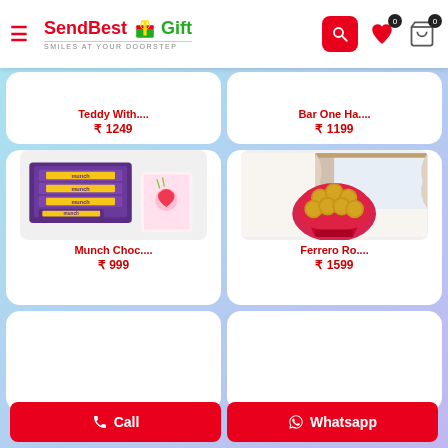SendBestGift - Smiles At Your Doorstep
Teddy With.... ₹ 1249
Barbie Ha.... ₹ 1199
[Figure (photo): Munch chocolate bars with greeting card]
Munch Choc.... ₹ 999
[Figure (photo): Ferrero Rocher chocolate bouquet with red wrapping]
Ferrero Ro.... ₹ 1599
Call | Whatsapp